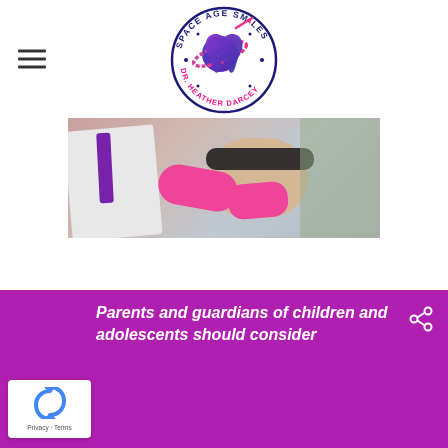Space Age Smiles - Dr. Heather Darcey (logo)
[Figure (logo): Space Age Smiles circular logo with tooth and planet design, text: DR. HEATHER DARCEY]
[Figure (photo): Dentist in white coat and pink gloves working on a child patient wearing sunglasses in a dental chair]
[Figure (logo): reCAPTCHA widget with Privacy - Terms text]
Parents and guardians of children and adolescents should consider